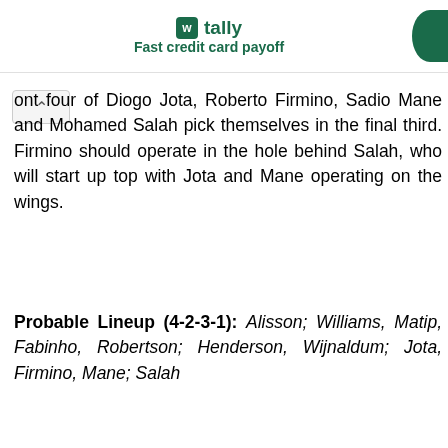tally Fast credit card payoff
ont four of Diogo Jota, Roberto Firmino, Sadio Mane and Mohamed Salah pick themselves in the final third. Firmino should operate in the hole behind Salah, who will start up top with Jota and Mane operating on the wings.
Probable Lineup (4-2-3-1): Alisson; Williams, Matip, Fabinho, Robertson; Henderson, Wijnaldum; Jota, Firmino, Mane; Salah